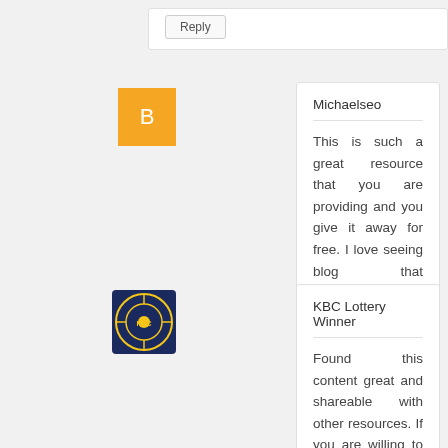Reply
Michaelseo
This is such a great resource that you are providing and you give it away for free. I love seeing blog that understand the value of providing a quality resource for free. music promotion
Reply
KBC Lottery Winner
Found this content great and shareable with other resources. If you are willing to participate and win grand lottery prizes in KBC, visit https://kbcofficialwinner.com website to get detailed information.
Reply